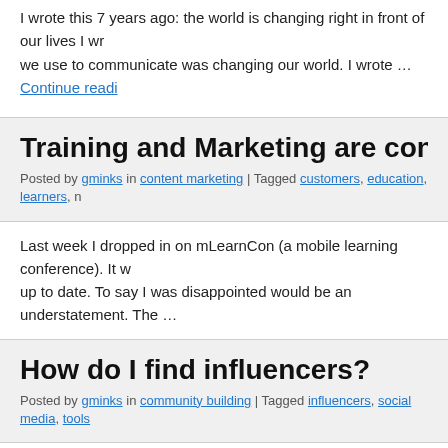I wrote this 7 years ago: the world is changing right in front of our lives I wr… we use to communicate was changing our world. I wrote … Continue readi
Training and Marketing are converging
Posted by gminks in content marketing | Tagged customers, education, learners, m
Last week I dropped in on mLearnCon (a mobile learning conference). It w… up to date. To say I was disappointed would be an understatement. The …
How do I find influencers?
Posted by gminks in community building | Tagged influencers, social media, tools
I promised I would write about this in an earlier post, and since the idea wa